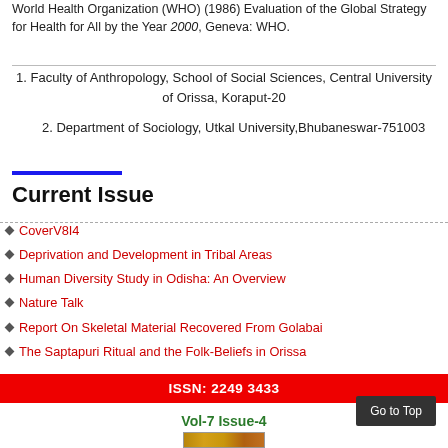World Health Organization (WHO) (1986) Evaluation of the Global Strategy for Health for All by the Year 2000, Geneva: WHO.
1. Faculty of Anthropology, School of Social Sciences, Central University of Orissa, Koraput-20
2. Department of Sociology, Utkal University,Bhubaneswar-751003
Current Issue
CoverV8I4
Deprivation and Development in Tribal Areas
Human Diversity Study in Odisha: An Overview
Nature Talk
Report On Skeletal Material Recovered From Golabai
The Saptapuri Ritual and the Folk-Beliefs in Orissa
ISSN: 2249 3433
Vol-7 Issue-4